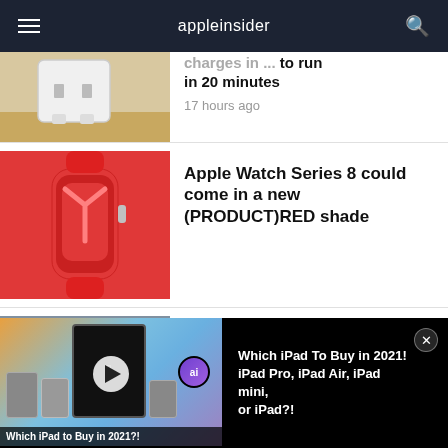appleinsider
[Figure (photo): White USB-C charger block on wooden surface, partially visible]
charges in ... to run in 20 minutes
17 hours ago
[Figure (photo): Apple Watch Series 8 in (PRODUCT)RED color on red background]
Apple Watch Series 8 could come in a new (PRODUCT)RED shade
[Figure (screenshot): Person speaking in a workshop/garage setting, video thumbnail]
Ex-Apple inventor describes how his VR
[Figure (screenshot): Video player showing iPads with colorful gradient background and play button. Caption: Which iPad to Buy in 2021?! Title: Which iPad To Buy in 2021! iPad Pro, iPad Air, iPad mini, or iPad?!]